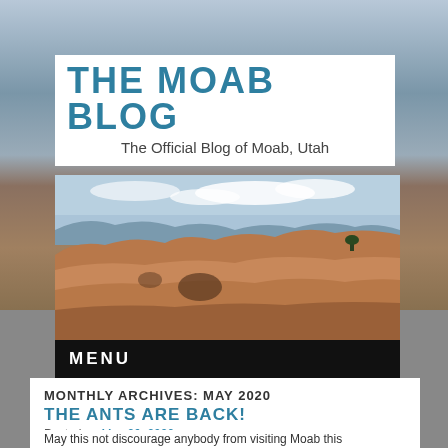THE MOAB BLOG
The Official Blog of Moab, Utah
[Figure (photo): Red rock canyon formations with blue sky, desert landscape near Moab, Utah]
MENU
MONTHLY ARCHIVES: MAY 2020
THE ANTS ARE BACK!
Posted on May 26, 2020
May this not discourage anybody from visiting Moab this